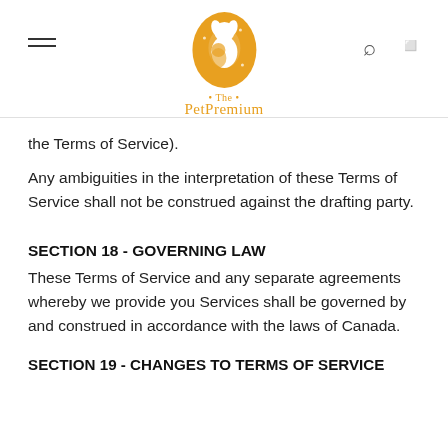The Pet Premium
the Terms of Service).
Any ambiguities in the interpretation of these Terms of Service shall not be construed against the drafting party.
SECTION 18 - GOVERNING LAW
These Terms of Service and any separate agreements whereby we provide you Services shall be governed by and construed in accordance with the laws of Canada.
SECTION 19 - CHANGES TO TERMS OF SERVICE